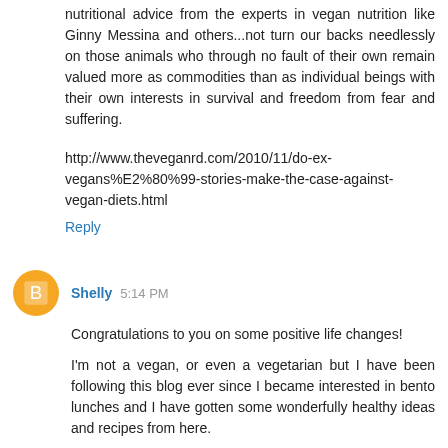nutritional advice from the experts in vegan nutrition like Ginny Messina and others...not turn our backs needlessly on those animals who through no fault of their own remain valued more as commodities than as individual beings with their own interests in survival and freedom from fear and suffering.
http://www.theveganrd.com/2010/11/do-ex-vegans%E2%80%99-stories-make-the-case-against-vegan-diets.html
Reply
Shelly 5:14 PM
Congratulations to you on some positive life changes!
I'm not a vegan, or even a vegetarian but I have been following this blog ever since I became interested in bento lunches and I have gotten some wonderfully healthy ideas and recipes from here.